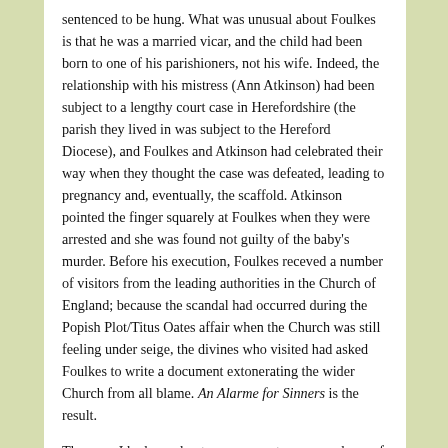sentenced to be hung. What was unusual about Foulkes is that he was a married vicar, and the child had been born to one of his parishioners, not his wife. Indeed, the relationship with his mistress (Ann Atkinson) had been subject to a lengthy court case in Herefordshire (the parish they lived in was subject to the Hereford Diocese), and Foulkes and Atkinson had celebrated their way when they thought the case was defeated, leading to pregnancy and, eventually, the scaffold. Atkinson pointed the finger squarely at Foulkes when they were arrested and she was found not guilty of the baby's murder. Before his execution, Foulkes receved a number of visitors from the leading authorities in the Church of England; because the scandal had occurred during the Popish Plot/Titus Oates affair when the Church was still feeling under seige, the divines who visited had asked Foulkes to write a document extonerating the wider Church from all blame. An Alarme for Sinners is the result.
The copy I had saved onto my computer was made up of a series of PDFs; each double page spread being saved as one file. This, together with the problematic print and